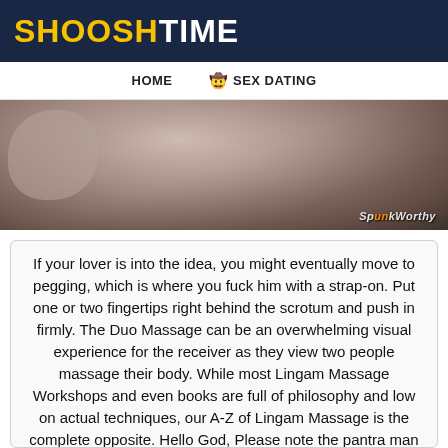SHOOSHTIME
HOME   🤠 SEX DATING
[Figure (photo): Close-up photograph of a massage scene with SpunkWorthy watermark in bottom right corner.]
If your lover is into the idea, you might eventually move to pegging, which is where you fuck him with a strap-on. Put one or two fingertips right behind the scrotum and push in firmly. The Duo Massage can be an overwhelming visual experience for the receiver as they view two people massage their body. While most Lingam Massage Workshops and even books are full of philosophy and low on actual techniques, our A-Z of Lingam Massage is the complete opposite. Hello God, Please note the pantra man massager was a limited edition. If you want to learn some powerful anal sex techniques for intense orgasms, then you may want to listen to